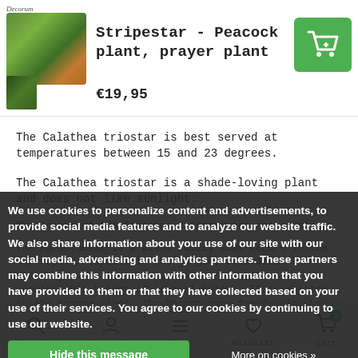Decorum
Stripestar - Peacock plant, prayer plant
€19,95
The Calathea triostar is best served at temperatures between 15 and 23 degrees.
The Calathea triostar is a shade-loving plant and does not like sunlight.
The leaves of the Calathea triostar are not edible.
The Marantaceae is a plant family that occurs in the subtropics, especially the jungles of Brazil. The plants grow in the wild as shrubs which have a considerable height of several meters. It is related to the banana plant. The Marantaceae family also known to the local population for its nutritional value: the roots are eaten, and even the leaves of the plants are again suitable for this. It is also obvious that the Marantaceae clan has a medical significance. The plant family owes its name to an Italian
We use cookies to personalize content and advertisements, to provide social media features and to analyze our website traffic. We also share information about your use of our site with our social media, advertising and analytics partners. These partners may combine this information with other information that you have provided to them or that they have collected based on your use of their services. You agree to our cookies by continuing to use our website.
Search  Account  Menu  Wishlist  Cart